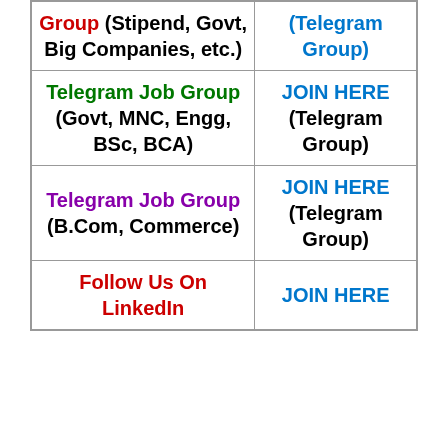| Group | Link |
| --- | --- |
| Group (Stipend, Govt, Big Companies, etc.) | (Telegram Group) |
| Telegram Job Group (Govt, MNC, Engg, BSc, BCA) | JOIN HERE (Telegram Group) |
| Telegram Job Group (B.Com, Commerce) | JOIN HERE (Telegram Group) |
| Follow Us On LinkedIn | JOIN HERE |